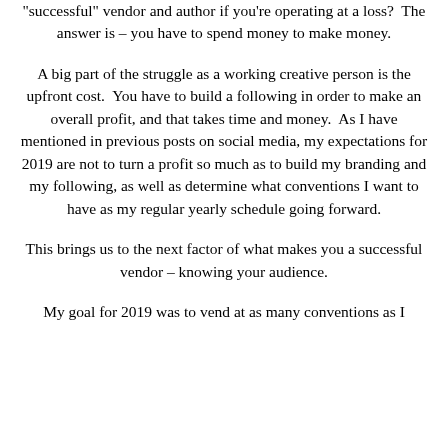“successful” vendor and author if you’re operating at a loss?  The answer is – you have to spend money to make money.
A big part of the struggle as a working creative person is the upfront cost.  You have to build a following in order to make an overall profit, and that takes time and money.  As I have mentioned in previous posts on social media, my expectations for 2019 are not to turn a profit so much as to build my branding and my following, as well as determine what conventions I want to have as my regular yearly schedule going forward.
This brings us to the next factor of what makes you a successful vendor – knowing your audience.
My goal for 2019 was to vend at as many conventions as I